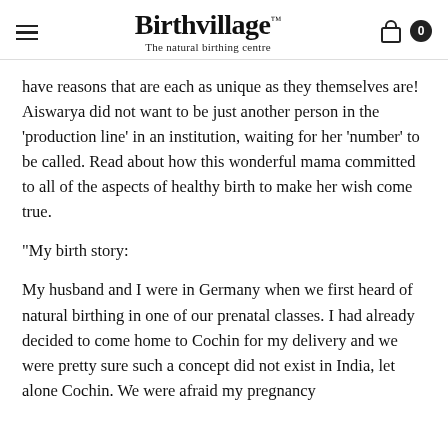Birthvillage™ — The natural birthing centre
have reasons that are each as unique as they themselves are! Aiswarya did not want to be just another person in the 'production line' in an institution, waiting for her 'number' to be called. Read about how this wonderful mama committed to all of the aspects of healthy birth to make her wish come true.
“My birth story:
My husband and I were in Germany when we first heard of natural birthing in one of our prenatal classes. I had already decided to come home to Cochin for my delivery and we were pretty sure such a concept did not exist in India, let alone Cochin. We were afraid my pregnancy